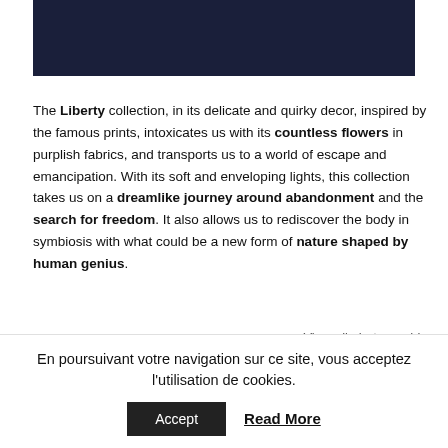[Figure (photo): Dark navy/dark blue rectangular header image block]
The Liberty collection, in its delicate and quirky decor, inspired by the famous prints, intoxicates us with its countless flowers in purplish fabrics, and transports us to a world of escape and emancipation. With its soft and enveloping lights, this collection takes us on a dreamlike journey around abandonment and the search for freedom. It also allows us to rediscover the body in symbiosis with what could be a new form of nature shaped by human genius.
View all photographies
View all collections
En poursuivant votre navigation sur ce site, vous acceptez l'utilisation de cookies.
Accept
Read More